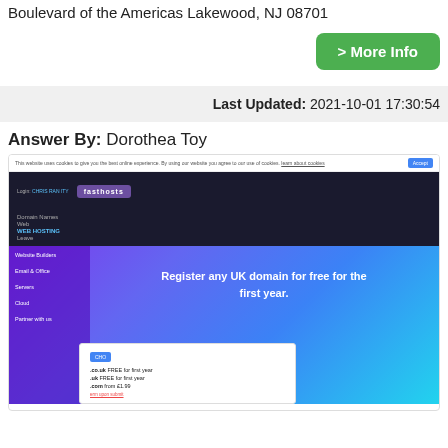Boulevard of the Americas Lakewood, NJ 08701
> More Info
Last Updated: 2021-10-01 17:30:54
Answer By: Dorothea Toy
[Figure (screenshot): Screenshot of Fasthosts website showing domain registration offer: Register any UK domain for free for the first year. Shows navigation menu with Domain Names, Hosting, Web Hosting options. A popup shows .co.uk FREE for first year, .uk FREE for first year, .com from £1.99.]